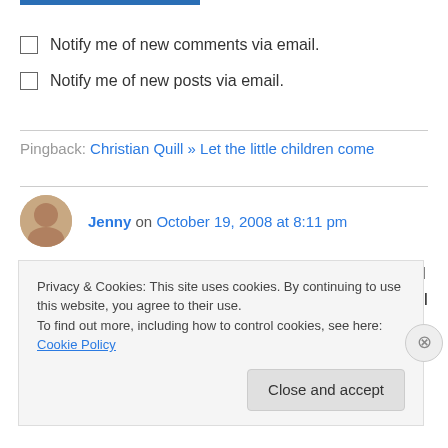Notify me of new comments via email.
Notify me of new posts via email.
Pingback: Christian Quill » Let the little children come
Jenny on October 19, 2008 at 8:11 pm
How ridiculous that something like that could happen in the year 2008. If I'd gotten that call I
Privacy & Cookies: This site uses cookies. By continuing to use this website, you agree to their use. To find out more, including how to control cookies, see here: Cookie Policy
Close and accept